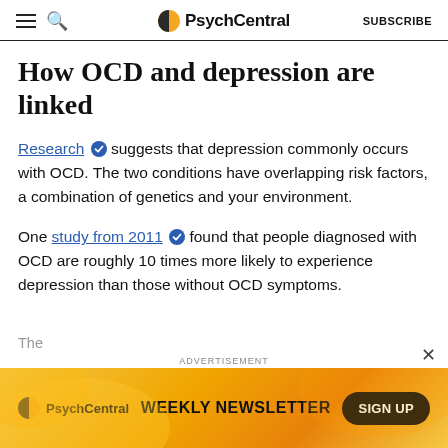PsychCentral | SUBSCRIBE
How OCD and depression are linked
Research suggests that depression commonly occurs with OCD. The two conditions have overlapping risk factors, a combination of genetics and your environment.
One study from 2011 found that people diagnosed with OCD are roughly 10 times more likely to experience depression than those without OCD symptoms.
[Figure (other): Advertisement banner for PsychCentral Weekly Newsletter with a Sign Up button on an orange/gold background]